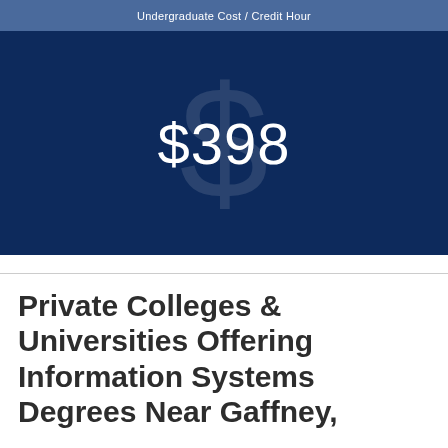Undergraduate Cost / Credit Hour
[Figure (infographic): Dark navy blue box with a large faded dollar sign symbol in the background and the text '$398' centered in white large font, representing the undergraduate cost per credit hour.]
Private Colleges & Universities Offering Information Systems Degrees Near Gaffney,